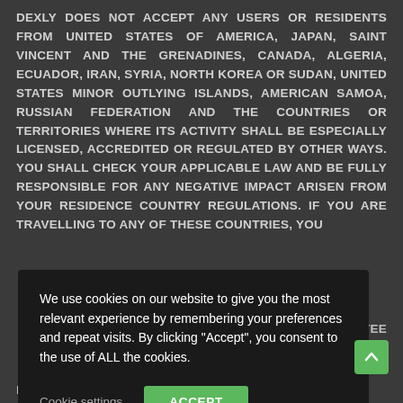DEXLY DOES NOT ACCEPT ANY USERS OR RESIDENTS FROM UNITED STATES OF AMERICA, JAPAN, SAINT VINCENT AND THE GRENADINES, CANADA, ALGERIA, ECUADOR, IRAN, SYRIA, NORTH KOREA OR SUDAN, UNITED STATES MINOR OUTLYING ISLANDS, AMERICAN SAMOA, RUSSIAN FEDERATION AND THE COUNTRIES OR TERRITORIES WHERE ITS ACTIVITY SHALL BE ESPECIALLY LICENSED, ACCREDITED OR REGULATED BY OTHER WAYS. YOU SHALL CHECK YOUR APPLICABLE LAW AND BE FULLY RESPONSIBLE FOR ANY NEGATIVE IMPACT ARISEN FROM YOUR RESIDENCE COUNTRY REGULATIONS. IF YOU ARE TRAVELLING TO ANY OF THESE COUNTRIES, YOU ...BE UNAVAILABLE
[Figure (screenshot): Cookie consent popup overlay with dark background. Text reads: 'We use cookies on our website to give you the most relevant experience by remembering your preferences and repeat visits. By clicking "Accept", you consent to the use of ALL the cookies.' Two buttons: 'Cookie settings' (underlined text) and 'ACCEPT' (green button).]
...oes not guarantee ...ows you to perform ...orex tools with the
Digital currency (cryptocurrency), unlike most currencies supported by